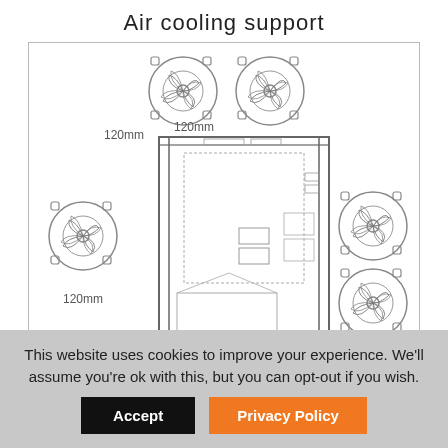Air cooling support
[Figure (engineering-diagram): PC case air cooling diagram showing fan placement positions: two 120mm fans on top, one 120mm fan on left side (front intake), and two 120mm fans on right side (rear exhaust). Central illustration shows the PC case interior in cross-section with all fan mounting points indicated.]
This website uses cookies to improve your experience. We'll assume you're ok with this, but you can opt-out if you wish.
Accept
Privacy Policy